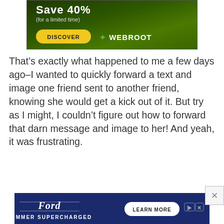[Figure (screenshot): Webroot advertisement banner showing 'Save 40% (for a limited time)' with a yellow DISCOVER button and Webroot logo on a green background]
That’s exactly what happened to me a few days ago–I wanted to quickly forward a text and image one friend sent to another friend, knowing she would get a kick out of it. But try as I might, I couldn’t figure out how to forward that darn message and image to her! And yeah, it was frustrating.
[Figure (screenshot): Ford Summer Supercharged advertisement banner with a 'LEARN MORE' button on a dark blue background]